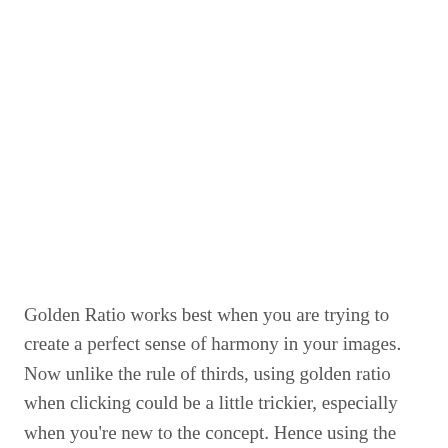Golden Ratio works best when you are trying to create a perfect sense of harmony in your images. Now unlike the rule of thirds, using golden ratio when clicking could be a little trickier, especially when you're new to the concept. Hence using the Golden Spiral in post-production is one of